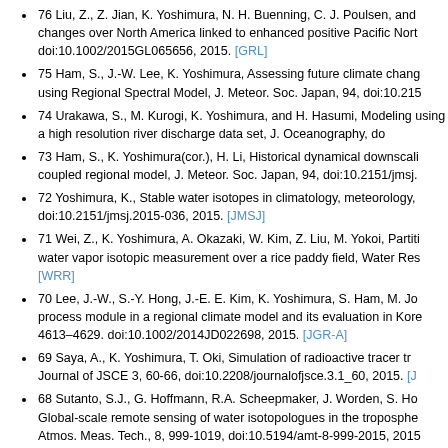76 Liu, Z., Z. Jian, K. Yoshimura, N. H. Buenning, C. J. Poulsen, and changes over North America linked to enhanced positive Pacific Nort doi:10.1002/2015GL065656, 2015. [GRL]
75 Ham, S., J.-W. Lee, K. Yoshimura, Assessing future climate chang using Regional Spectral Model, J. Meteor. Soc. Japan, 94, doi:10.215
74 Urakawa, S., M. Kurogi, K. Yoshimura, and H. Hasumi, Modeling using a high resolution river discharge data set, J. Oceanography, do
73 Ham, S., K. Yoshimura(cor.), H. Li, Historical dynamical downscali coupled regional model, J. Meteor. Soc. Japan, 94, doi:10.2151/jmsj.
72 Yoshimura, K., Stable water isotopes in climatology, meteorology, doi:10.2151/jmsj.2015-036, 2015. [JMSJ]
71 Wei, Z., K. Yoshimura, A. Okazaki, W. Kim, Z. Liu, M. Yokoi, Partiti water vapor isotopic measurement over a rice paddy field, Water Res [WRR]
70 Lee, J.-W., S.-Y. Hong, J.-E. E. Kim, K. Yoshimura, S. Ham, M. Jo process module in a regional climate model and its evaluation in Kore 4613–4629. doi:10.1002/2014JD022698, 2015. [JGR-A]
69 Saya, A., K. Yoshimura, T. Oki, Simulation of radioactive tracer tr Journal of JSCE 3, 60-66, doi:10.2208/journalofjsce.3.1_60, 2015. [J
68 Sutanto, S.J., G. Hoffmann, R.A. Scheepmaker, J. Worden, S. Ho Global-scale remote sensing of water isotopologues in the troposphe Atmos. Meas. Tech., 8, 999-1019, doi:10.5194/amt-8-999-2015, 2015
67 Okazaki, A., Y. Satoh, G. Tremoy, F. Viemux, R. A. Scheepmaker, composition in water vapor over western Africa and its relationship to doi:10.5194/acp-15-3193-2015, 2015. [ACP]
66 He, X., H. Kim, P.-E. Kirstetter, K. Yoshimura, E.-C. Chang, C. R. Cycle of Precipitation in Regional Spectral Model Simulations over W